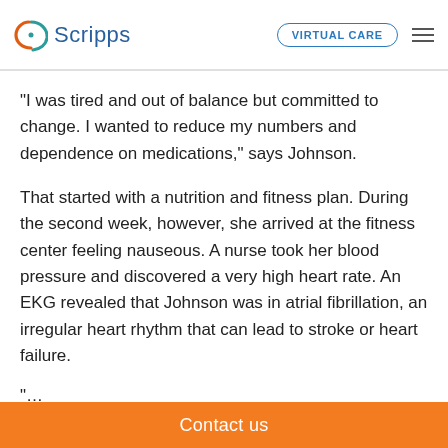Scripps | VIRTUAL CARE
“I was tired and out of balance but committed to change. I wanted to reduce my numbers and dependence on medications,” says Johnson.
That started with a nutrition and fitness plan. During the second week, however, she arrived at the fitness center feeling nauseous. A nurse took her blood pressure and discovered a very high heart rate. An EKG revealed that Johnson was in atrial fibrillation, an irregular heart rhythm that can lead to stroke or heart failure.
“…
Contact us